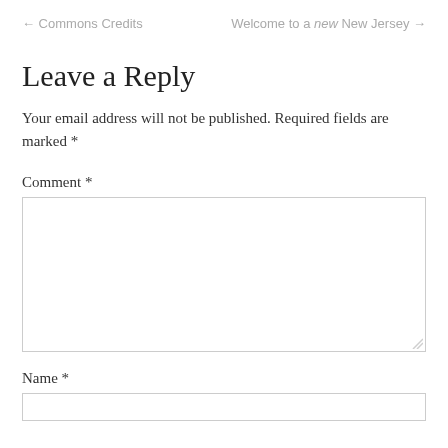← Commons Credits    Welcome to a new New Jersey →
Leave a Reply
Your email address will not be published. Required fields are marked *
Comment *
Name *